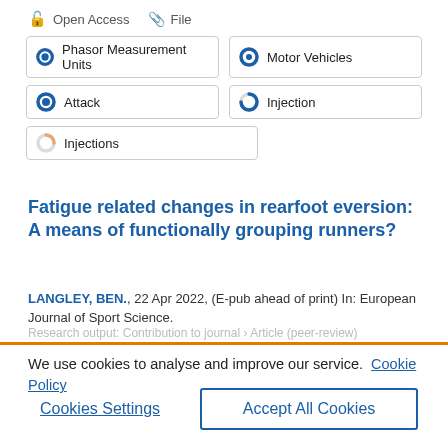Open Access   File
Phasor Measurement Units
Motor Vehicles
Attack
Injection
Injections
Fatigue related changes in rearfoot eversion: A means of functionally grouping runners?
LANGLEY, BEN., 22 Apr 2022, (E-pub ahead of print) In: European Journal of Sport Science.
We use cookies to analyse and improve our service.  Cookie Policy
Cookies Settings
Accept All Cookies